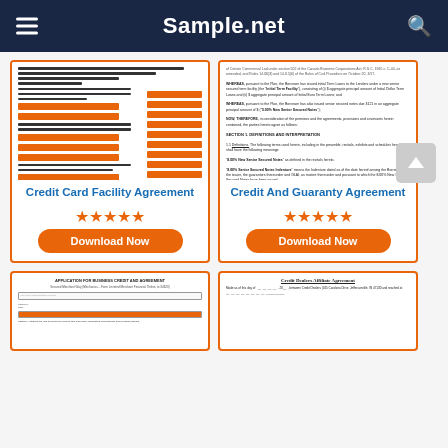Sample.net
[Figure (screenshot): Document preview thumbnail of Credit Card Facility Agreement]
[Figure (screenshot): Document preview thumbnail of Credit And Guaranty Agreement]
Credit Card Facility Agreement
Credit And Guaranty Agreement
★★★★★
★★★★★
Download Now
Download Now
[Figure (screenshot): Document preview thumbnail of Application for Business Credit and Agreement]
[Figure (screenshot): Document preview thumbnail of Credit Dealers Affiliate Agreement]